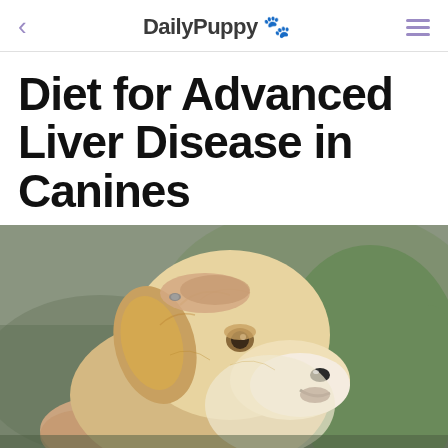DailyPuppy 🐾
Diet for Advanced Liver Disease in Canines
[Figure (photo): A golden retriever dog being hugged by a person wearing a green sweater. The dog is looking forward with its mouth slightly open. The background is blurred outdoor setting.]